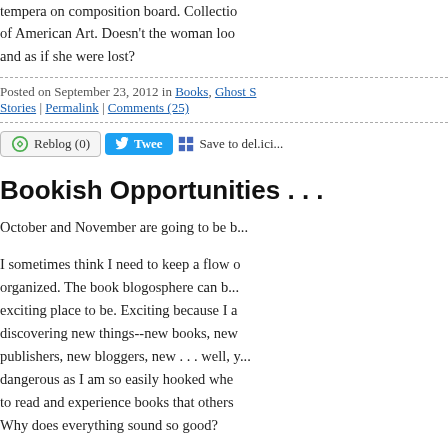tempera on composition board.  Collection of American Art.  Doesn't the woman look and as if she were lost?
Posted on September 23, 2012 in Books, Ghost Stories | Permalink | Comments (25)
Reblog (0) | Tweet | Save to del.ici...
Bookish Opportunities . . .
October and November are going to be b...
I sometimes think I need to keep a flow organized.  The book blogosphere can b... exciting place to be.  Exciting because I a... discovering new things--new books, new publishers, new bloggers, new . . . well, y... dangerous as I am so easily hooked whe... to read and experience books that others... Why does everything sound so good?
So in an effort to get things straight in my... having to create a mental, or real for tha... matter, flow chart) let me give a little run... down on reading opportunities that are...